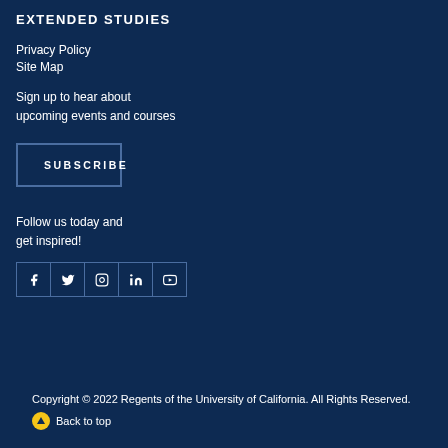EXTENDED STUDIES
Privacy Policy
Site Map
Sign up to hear about upcoming events and courses
SUBSCRIBE
Follow us today and get inspired!
[Figure (other): Social media icons row: Facebook, Twitter, Instagram, LinkedIn, YouTube]
Copyright © 2022 Regents of the University of California. All Rights Reserved.
Back to top